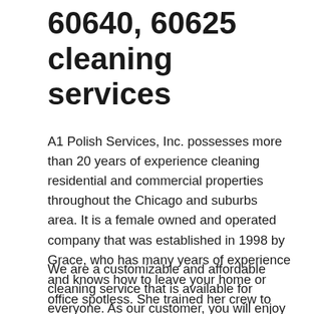60640, 60625 cleaning services
A1 Polish Services, Inc. possesses more than 20 years of experience cleaning residential and commercial properties throughout the Chicago and suburbs area. It is a female owned and operated company that was established in 1998 by Grace, who has many years of experience and knows how to leave your home or office spotless. She trained her crew to work perfectly in every residential or commercial building.
We are a customizable and affordable cleaning service that is available for everyone. As our customer, you will enjoy the benefits of